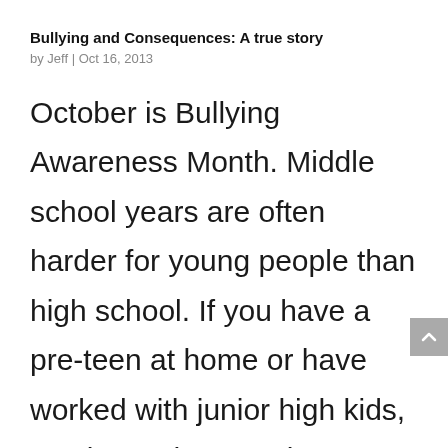Bullying and Consequences: A true story
by Jeff | Oct 16, 2013
October is Bullying Awareness Month. Middle school years are often harder for young people than high school. If you have a pre-teen at home or have worked with junior high kids, you know they can be downright cruel. Here's a tragic story out of Florida